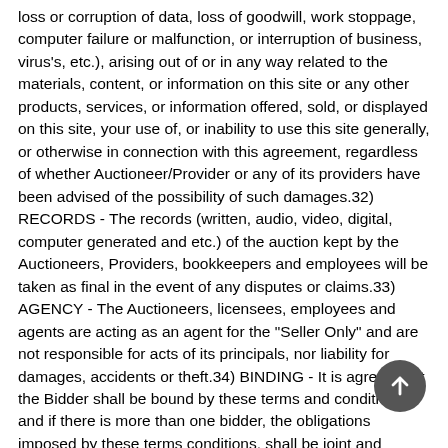loss or corruption of data, loss of goodwill, work stoppage, computer failure or malfunction, or interruption of business, virus's, etc.), arising out of or in any way related to the materials, content, or information on this site or any other products, services, or information offered, sold, or displayed on this site, your use of, or inability to use this site generally, or otherwise in connection with this agreement, regardless of whether Auctioneer/Provider or any of its providers have been advised of the possibility of such damages.32) RECORDS - The records (written, audio, video, digital, computer generated and etc.) of the auction kept by the Auctioneers, Providers, bookkeepers and employees will be taken as final in the event of any disputes or claims.33) AGENCY - The Auctioneers, licensees, employees and agents are acting as an agent for the "Seller Only" and are not responsible for acts of its principals, nor liability for damages, accidents or theft.34) BINDING - It is agreed that the Bidder shall be bound by these terms and conditions, and if there is more than one bidder, the obligations imposed by these terms conditions, shall be joint and several. If any term or condition is determined by a court to be unenforceable,